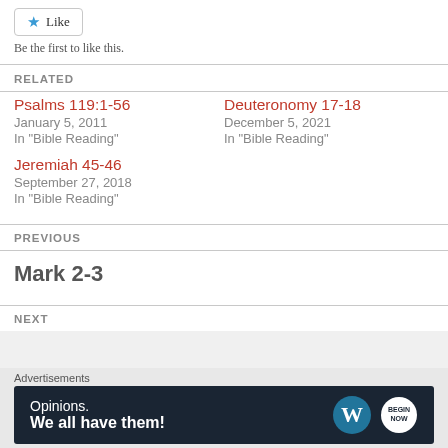Like / Be the first to like this.
RELATED
Psalms 119:1-56
January 5, 2011
In "Bible Reading"
Deuteronomy 17-18
December 5, 2021
In "Bible Reading"
Jeremiah 45-46
September 27, 2018
In "Bible Reading"
PREVIOUS
Mark 2-3
NEXT
Advertisements
[Figure (infographic): WordPress advertisement banner: 'Opinions. We all have them!' with WordPress logo and button logo on dark navy background]